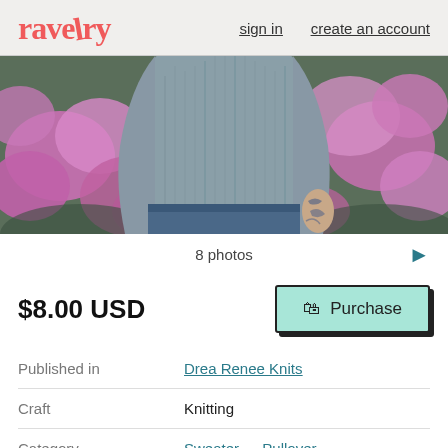ravelry   sign in   create an account
[Figure (photo): Person wearing a gray knitted sweater/pullover standing in front of pink flowering bushes, showing the torso and arms with tattoos visible]
8 photos
$8.00 USD
Purchase
|  |  |
| --- | --- |
| Published in | Drea Renee Knits |
| Craft | Knitting |
| Category | Sweater → Pullover |
| Published | June 2020 |